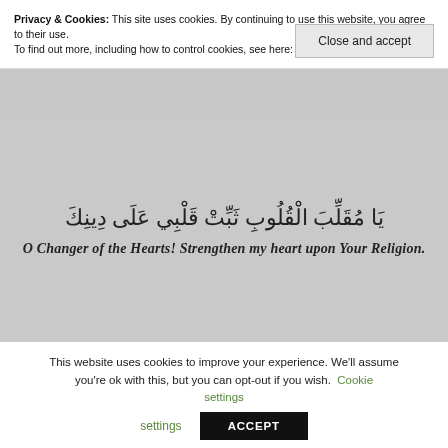Privacy & Cookies: This site uses cookies. By continuing to use this website, you agree to their use. To find out more, including how to control cookies, see here: Cookie Policy
Close and accept
[Figure (photo): A grey/off-white page with Arabic calligraphy text and its English translation below it. The Arabic reads: يَا مُقَلِّبَ الْقُلُوبِ ثَبِّتْ قَلْبِي عَلَى دِينِكَ and the English italic bold translation reads: O Changer of the Hearts! Strengthen my heart upon Your Religion.]
This website uses cookies to improve your experience. We'll assume you're ok with this, but you can opt-out if you wish. Cookie settings ACCEPT